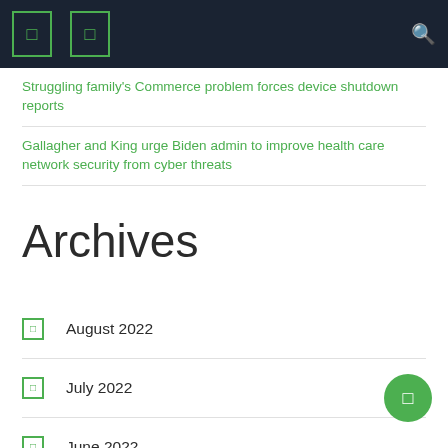Navigation bar with icons and search
Struggling family's Commerce problem forces device shutdown reports
Gallagher and King urge Biden admin to improve health care network security from cyber threats
Archives
August 2022
July 2022
June 2022
May 2022